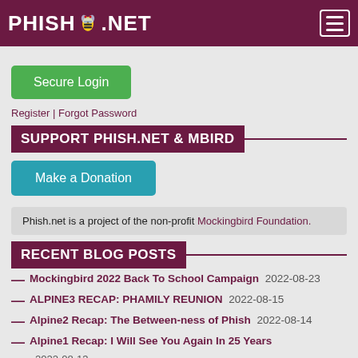PHISH.NET
Secure Login
Register | Forgot Password
SUPPORT PHISH.NET & MBIRD
Make a Donation
Phish.net is a project of the non-profit Mockingbird Foundation.
RECENT BLOG POSTS
Mockingbird 2022 Back To School Campaign 2022-08-23
ALPINE3 RECAP: PHAMILY REUNION 2022-08-15
Alpine2 Recap: The Between-ness of Phish 2022-08-14
Alpine1 Recap: I Will See You Again In 25 Years 2022-08-13